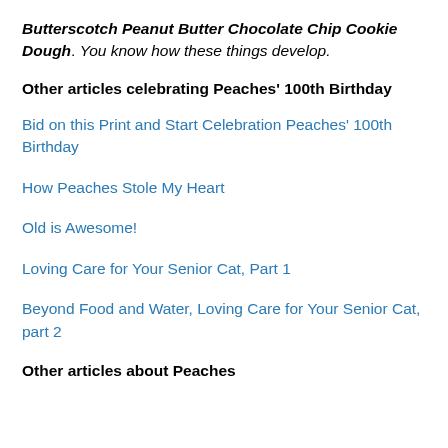Butterscotch Peanut Butter Chocolate Chip Cookie Dough. You know how these things develop.
Other articles celebrating Peaches' 100th Birthday
Bid on this Print and Start Celebration Peaches' 100th Birthday
How Peaches Stole My Heart
Old is Awesome!
Loving Care for Your Senior Cat, Part 1
Beyond Food and Water, Loving Care for Your Senior Cat, part 2
Other articles about Peaches